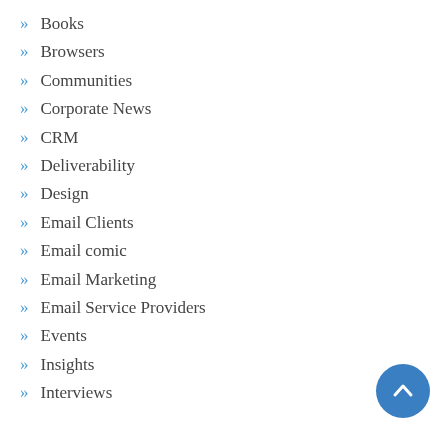Books
Browsers
Communities
Corporate News
CRM
Deliverability
Design
Email Clients
Email comic
Email Marketing
Email Service Providers
Events
Insights
Interviews